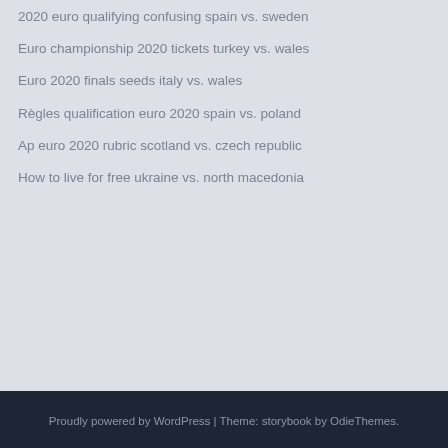2020 euro qualifying confusing spain vs. sweden
Euro championship 2020 tickets turkey vs. wales
Euro 2020 finals seeds italy vs. wales
Règles qualification euro 2020 spain vs. poland
Ap euro 2020 rubric scotland vs. czech republic
How to live for free ukraine vs. north macedonia
Proudly powered by WordPress | Theme: storybook by OdieThemes.